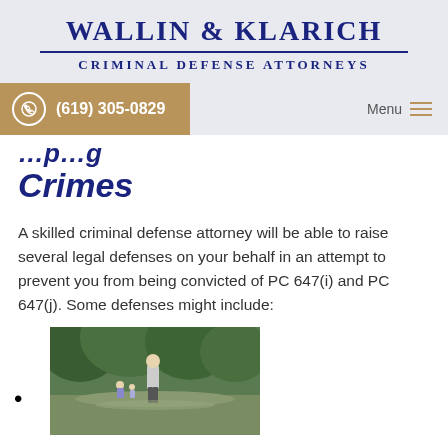WALLIN & KLARICH
CRIMINAL DEFENSE ATTORNEYS
(619) 305-0829
Crimes
A skilled criminal defense attorney will be able to raise several legal defenses on your behalf in an attempt to prevent you from being convicted of PC 647(i) and PC 647(j). Some defenses might include:
[Figure (photo): A person walking in an outdoor park/wooded area with figures in the background]